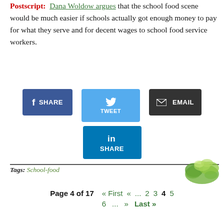Postscript: Dana Woldow argues that the school food scene would be much easier if schools actually got enough money to pay for what they serve and for decent wages to school food service workers.
[Figure (infographic): Social share buttons: Facebook SHARE (dark blue), Twitter TWEET (light blue, taller), EMAIL (dark gray), LinkedIn SHARE (medium blue, taller)]
Tags: School-food
[Figure (photo): Lettuce/herb image in top right of footer area]
Page 4 of 17  « First  «  ...  2  3  4  5  6  ...  »  Last »